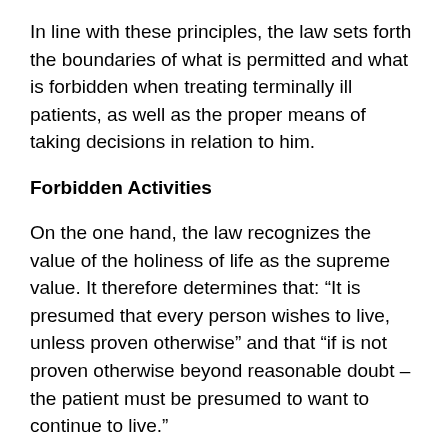In line with these principles, the law sets forth the boundaries of what is permitted and what is forbidden when treating terminally ill patients, as well as the proper means of taking decisions in relation to him.
Forbidden Activities
On the one hand, the law recognizes the value of the holiness of life as the supreme value. It therefore determines that: “It is presumed that every person wishes to live, unless proven otherwise” and that “if is not proven otherwise beyond reasonable doubt – the patient must be presumed to want to continue to live.”
The law further makes it very clear that: “Nothing in the law permits any action, even medical